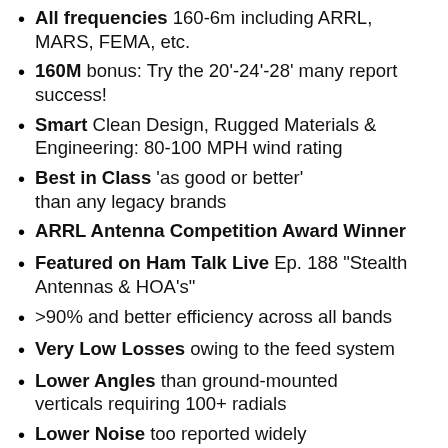All frequencies 160-6m including ARRL, MARS, FEMA, etc.
160M bonus: Try the 20'-24'-28' many report success!
Smart Clean Design, Rugged Materials & Engineering: 80-100 MPH wind rating
Best in Class 'as good or better' than any legacy brands
ARRL Antenna Competition Award Winner
Featured on Ham Talk Live Ep. 188 "Stealth Antennas & HOA's"
>90% and better efficiency across all bands
Very Low Losses owing to the feed system
Lower Angles than ground-mounted verticals requiring 100+ radials
Lower Noise too reported widely
Easy Install: Dig a 3-4' post hole, build antenna (1-hour), dirt or Quik Crete, drop-in